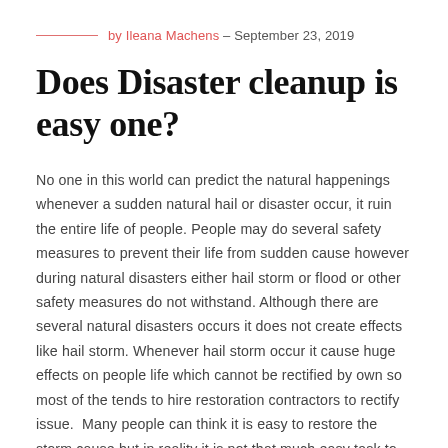by Ileana Machens – September 23, 2019
Does Disaster cleanup is easy one?
No one in this world can predict the natural happenings whenever a sudden natural hail or disaster occur, it ruin the entire life of people. People may do several safety measures to prevent their life from sudden cause however during natural disasters either hail storm or flood or other safety measures do not withstand. Although there are several natural disasters occurs it does not create effects like hail storm. Whenever hail storm occur it cause huge effects on people life which cannot be rectified by own so most of the tends to hire restoration contractors to rectify issue.  Many people can think it is easy to restore the storm cause but in reality it is not that much easy task to rectify as it involves many rectify works. Moreover by hiring